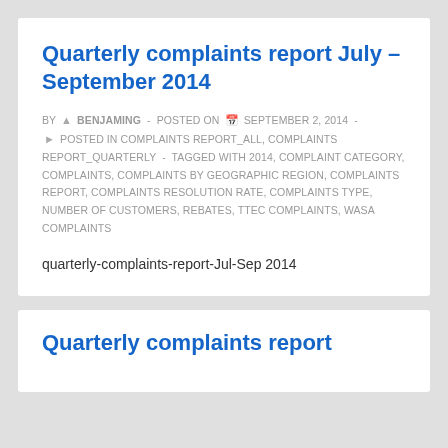Quarterly complaints report July – September 2014
BY BENJAMING - POSTED ON SEPTEMBER 2, 2014 - POSTED IN COMPLAINTS REPORT_ALL, COMPLAINTS REPORT_QUARTERLY - TAGGED WITH 2014, COMPLAINT CATEGORY, COMPLAINTS, COMPLAINTS BY GEOGRAPHIC REGION, COMPLAINTS REPORT, COMPLAINTS RESOLUTION RATE, COMPLAINTS TYPE, NUMBER OF CUSTOMERS, REBATES, TTEC COMPLAINTS, WASA COMPLAINTS
quarterly-complaints-report-Jul-Sep 2014
Quarterly complaints report